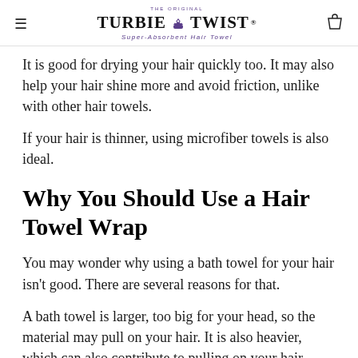THE ORIGINAL TURBIE TWIST Super-Absorbent Hair Towel
It is good for drying your hair quickly too. It may also help your hair shine more and avoid friction, unlike with other hair towels.
If your hair is thinner, using microfiber towels is also ideal.
Why You Should Use a Hair Towel Wrap
You may wonder why using a bath towel for your hair isn't good. There are several reasons for that.
A bath towel is larger, too big for your head, so the material may pull on your hair. It is also heavier, which can also contribute to pulling on your hair.